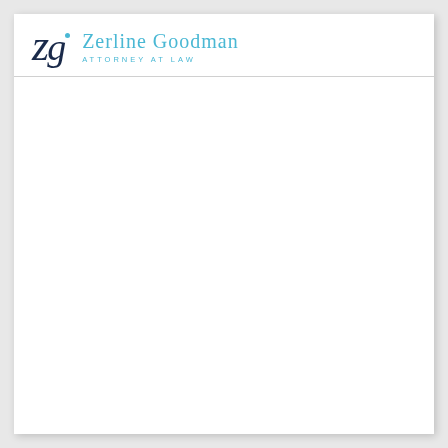Zerline Goodman – Attorney at Law
[Figure (logo): Law firm logo with stylized italic 'zg' monogram in dark navy and a small teal dot, beside the firm name 'Zerline Goodman' in teal and 'ATTORNEY AT LAW' in small teal spaced caps]